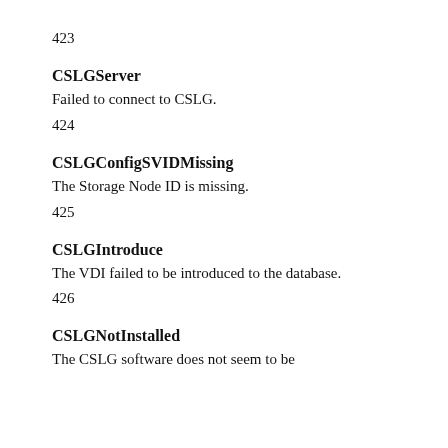423
CSLGServer
Failed to connect to CSLG.
424
CSLGConfigSVIDMissing
The Storage Node ID is missing.
425
CSLGIntroduce
The VDI failed to be introduced to the database.
426
CSLGNotInstalled
The CSLG software does not seem to be